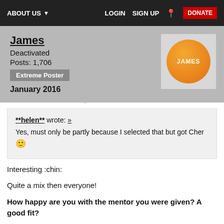ABOUT US  LOGIN  SIGN UP  DONATE
James
Deactivated
Posts: 1,706
Extreme Poster
January 2016
**helen** wrote: »
Yes, must only be partly because I selected that but got Cher 🙂
Interesting :chin:
Quite a mix then everyone!
How happy are you with the mentor you were given? A good fit?
Reckon ol' Dumbledore would be good for me - I prefer a